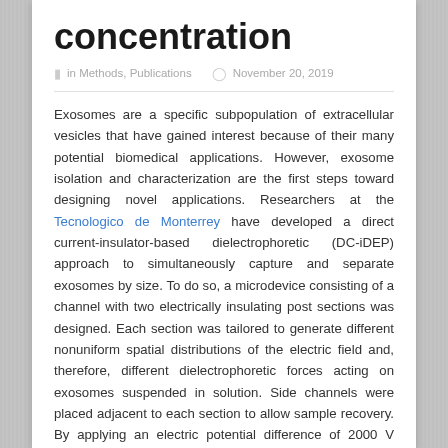concentration
in Methods, Publications  November 20, 2019
Exosomes are a specific subpopulation of extracellular vesicles that have gained interest because of their many potential biomedical applications. However, exosome isolation and characterization are the first steps toward designing novel applications. Researchers at the Tecnologico de Monterrey have developed a direct current-insulator-based dielectrophoretic (DC-iDEP) approach to simultaneously capture and separate exosomes by size. To do so, a microdevice consisting of a channel with two electrically insulating post sections was designed. Each section was tailored to generate different nonuniform spatial distributions of the electric field and, therefore, different dielectrophoretic forces acting on exosomes suspended in solution. Side channels were placed adjacent to each section to allow sample recovery. By applying an electric potential difference of 2000 V across the length of the main